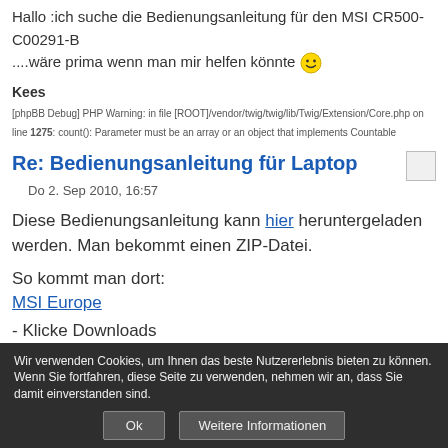Hallo :ich suche die Bedienungsanleitung für den MSI CR500-C00291-B ....wäre prima wenn man mir helfen könnte 😊
Kees
[phpBB Debug] PHP Warning: in file [ROOT]/vendor/twig/twig/lib/Twig/Extension/Core.php on line 1275: count(): Parameter must be an array or an object that implements Countable
Re: Bedienungsanleitung für Laptop
Do 2. Sep 2010, 16:57
Diese Bedienungsanleitung kann hier heruntergeladen werden. Man bekommt einen ZIP-Datei.
So kommt man dort:
MSI Europe
- Klicke Downloads
- Klicke bei Notebook: Classic Series
- Klicke bei CR500: Read More
- Klicke oben: Manual
- Wähle die Sprache: Western Europe / German
Bei mir funktionierte das ganze nur mit Firefox, in Internet Explorer kamen
Wir verwenden Cookies, um Ihnen das beste Nutzererlebnis bieten zu können. Wenn Sie fortfahren, diese Seite zu verwenden, nehmen wir an, dass Sie damit einverstanden sind.